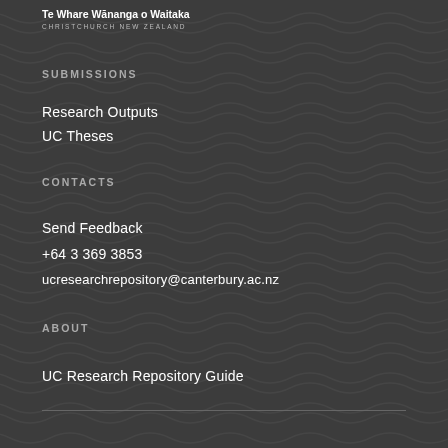[Figure (logo): University of Canterbury Te Whare Wānanga o Waitaha logo with text 'CHRISTCHURCH NEW ZEALAND']
SUBMISSIONS
Research Outputs
UC Theses
CONTACTS
Send Feedback
+64 3 369 3853
ucresearchrepository@canterbury.ac.nz
ABOUT
UC Research Repository Guide